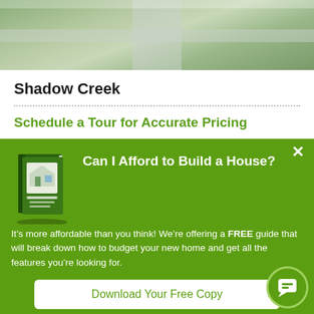[Figure (photo): Aerial view of a lawn/yard with a gray/white cross-shaped pathway visible]
Shadow Creek
Schedule a Tour for Accurate Pricing
[Figure (photo): Outdoor landscape photo with green trees and blue sky]
[Figure (infographic): Green popup modal overlay: 'Can I Afford to Build a House?' with a book graphic, promotional text, and a download button]
It’s more affordable than you think! We’re offering a FREE guide that will break down how to budget your new home and get all the features you’re looking for.
Download Your Free Copy